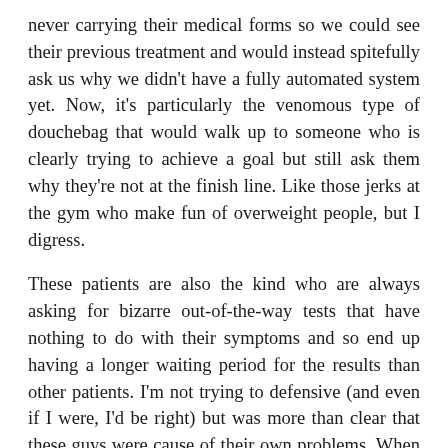never carrying their medical forms so we could see their previous treatment and would instead spitefully ask us why we didn't have a fully automated system yet. Now, it's particularly the venomous type of douchebag that would walk up to someone who is clearly trying to achieve a goal but still ask them why they're not at the finish line. Like those jerks at the gym who make fun of overweight people, but I digress.
These patients are also the kind who are always asking for bizarre out-of-the-way tests that have nothing to do with their symptoms and so end up having a longer waiting period for the results than other patients. I'm not trying to defensive (and even if I were, I'd be right) but was more than clear that these guys were cause of their own problems. When complaints were raised in the meeting and the